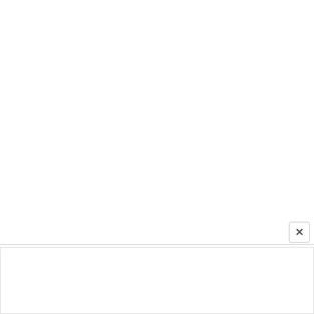[Figure (screenshot): White blank main content area of a webpage]
[Figure (screenshot): Advertisement banner for a store (cm logo) showing In-store shopping, Curbside pickup, and Delivery options with checkmarks, a navigation/directions icon on the right, and media controls on the left.]